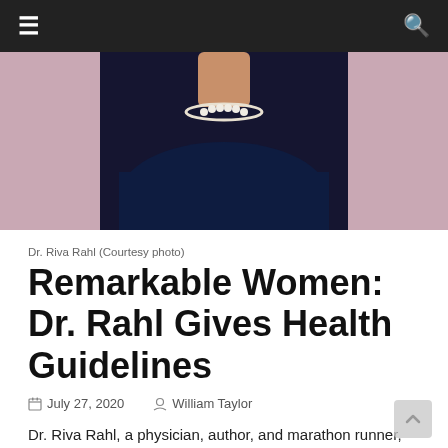[Figure (photo): Navigation bar with hamburger menu icon on left and search icon on right, dark background]
[Figure (photo): Photo of Dr. Riva Rahl wearing a dark navy sleeveless top with pearl necklace, pink/mauve background on sides]
Dr. Riva Rahl (Courtesy photo)
Remarkable Women: Dr. Rahl Gives Health Guidelines
July 27, 2020  William Taylor
Dr. Riva Rahl, a physician, author, and marathon runner, takes a preventive approach at Cooper Clinic.
“Often, we as a society tend to treat things reactively instead of proactively, and then it is far more difficult to